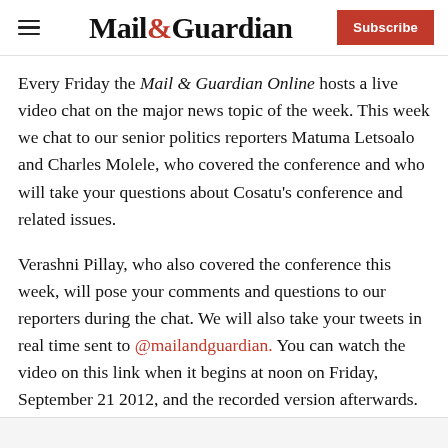Mail&Guardian — Subscribe
Every Friday the Mail & Guardian Online hosts a live video chat on the major news topic of the week. This week we chat to our senior politics reporters Matuma Letsoalo and Charles Molele, who covered the conference and who will take your questions about Cosatu's conference and related issues.
Verashni Pillay, who also covered the conference this week, will pose your comments and questions to our reporters during the chat. We will also take your tweets in real time sent to @mailandguardian. You can watch the video on this link when it begins at noon on Friday, September 21 2012, and the recorded version afterwards.